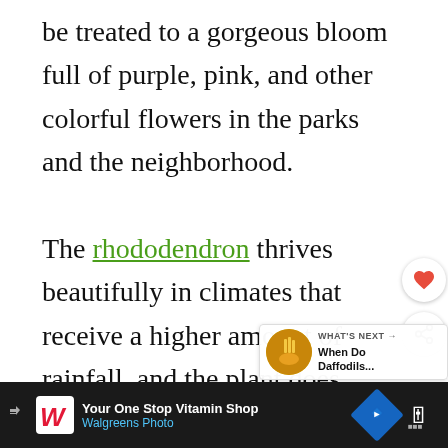be treated to a gorgeous bloom full of purple, pink, and other colorful flowers in the parks and the neighborhood.
The rhododendron thrives beautifully in climates that receive a higher amount of rainfall, and the plant does equally well during the moist summers. The plant can generally be found virtually all over the continent of America, and is also found in many parts of Europe as well as Asia.
[Figure (other): Heart/favorite button (circular white button with heart icon) and share button (circular white button with share icon) floating on the right side]
[Figure (other): What's Next widget showing a flower thumbnail and text 'When Do Daffodils...']
[Figure (other): Walgreens Photo advertisement bar at bottom: 'Your One Stop Vitamin Shop / Walgreens Photo']